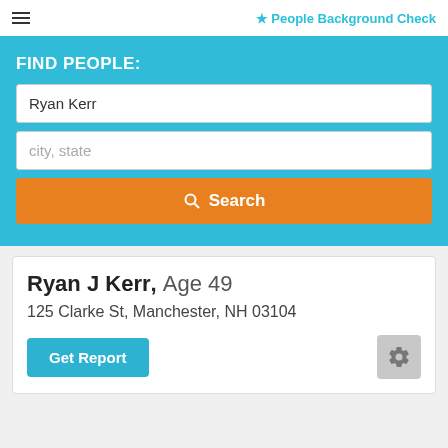☰  ★ People Background Check
FIND PEOPLE:
Ryan Kerr
city, state
🔍 Search
Ryan J Kerr, Age 49
125 Clarke St, Manchester, NH 03104
Get Report